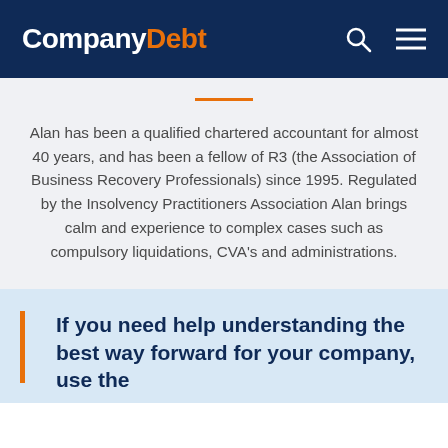CompanyDebt
Alan has been a qualified chartered accountant for almost 40 years, and has been a fellow of R3 (the Association of Business Recovery Professionals) since 1995. Regulated by the Insolvency Practitioners Association Alan brings calm and experience to complex cases such as compulsory liquidations, CVA's and administrations.
If you need help understanding the best way forward for your company, use the